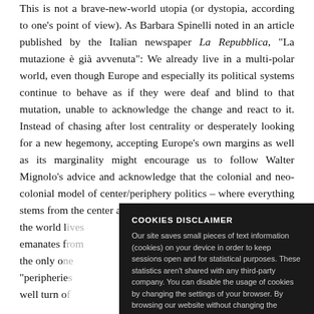This is not a brave-new-world utopia (or dystopia, according to one's point of view). As Barbara Spinelli noted in an article published by the Italian newspaper La Repubblica, "La mutazione è già avvenuta": We already live in a multi-polar world, even though Europe and especially its political systems continue to behave as if they were deaf and blind to that mutation, unable to acknowledge the change and react to it. Instead of chasing after lost centrality or desperately looking for a new hegemony, accepting Europe's own margins as well as its marginality might encourage us to follow Walter Mignolo's advice and acknowledge that the colonial and neo-colonial model of center/periphery politics – where everything stems from the center and, at most, others can just hope to tal[k] the world b[ecomes] emanates f[rom] the only o[ne] "peripherie[s] well turn o[f]
What happ[ens] center/peri[phery]
COOKIES DISCLAIMER
Our site saves small pieces of text information (cookies) on your device in order to keep sessions open and for statistical purposes. These statistics aren't shared with any third-party company. You can disable the usage of cookies by changing the settings of your browser. By browsing our website without changing the browser settings you grant us permission to store that information on your device.
I AGREE